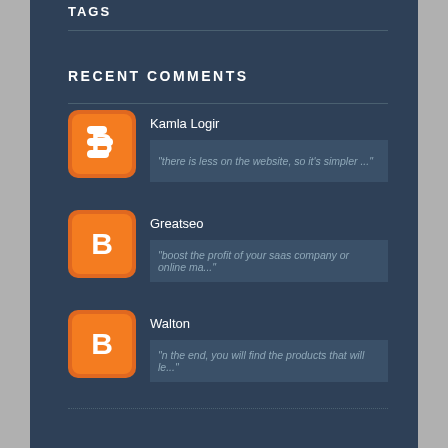TAGS
RECENT COMMENTS
Kamla Logir — "there is less on the website, so it's simpler ..."
Greatseo — "boost the profit of your saas company or online ma..."
Walton — "n the end, you will find the products that will le..."